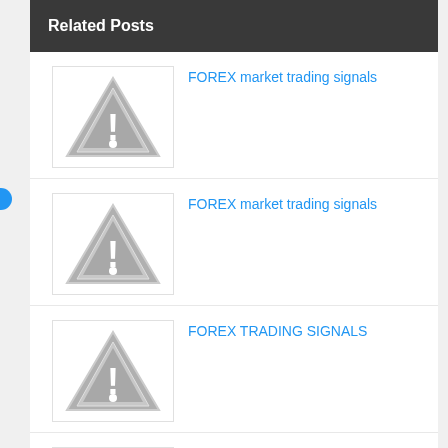Related Posts
FOREX market trading signals
FOREX market trading signals
FOREX TRADING SIGNALS
FORE